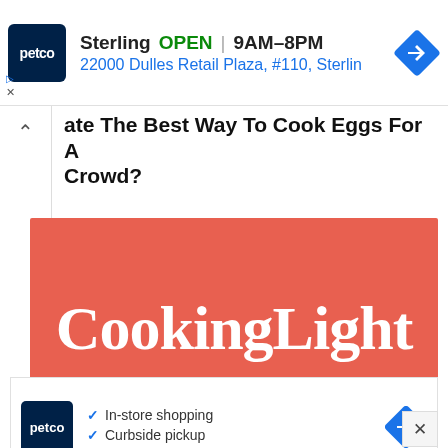[Figure (screenshot): Petco ad banner: logo, Sterling OPEN 9AM-8PM, 22000 Dulles Retail Plaza #110 Sterlin, navigation diamond icon]
...ate The Best Way To Cook Eggs For A Crowd?
[Figure (logo): CookingLight magazine logo on coral/salmon red background]
[Figure (screenshot): Petco ad: In-store shopping, Curbside pickup, with Petco logo and navigation diamond]